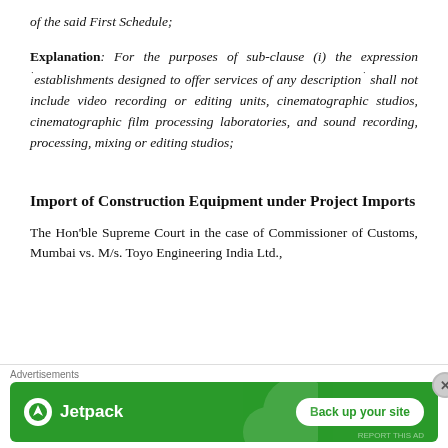of the said First Schedule;
Explanation: For the purposes of sub-clause (i) the expression "establishments designed to offer services of any description" shall not include video recording or editing units, cinematographic studios, cinematographic film processing laboratories, and sound recording, processing, mixing or editing studios;
Import of Construction Equipment under Project Imports
The Hon'ble Supreme Court in the case of Commissioner of Customs, Mumbai vs. M/s. Toyo Engineering India Ltd.,
[Figure (other): Advertisement banner: Jetpack 'Back up your site' promotional ad with green background]